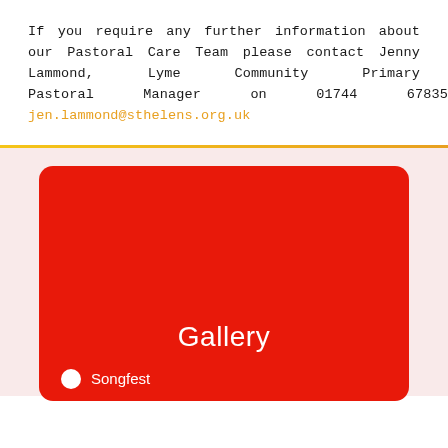If you require any further information about our Pastoral Care Team please contact Jenny Lammond, Lyme Community Primary Pastoral Manager on 01744 678350. jen.lammond@sthelens.org.uk
[Figure (other): Red rounded rectangle card with white 'Gallery' label and a white dot followed by 'Songfest' text at the bottom, on a light pink background]